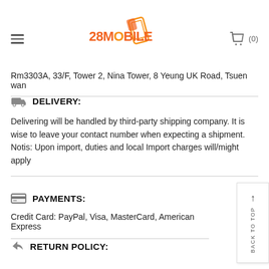[Figure (logo): 28Mobile logo with orange stylized mobile phone icon and orange text '28MOBILE']
Rm3303A, 33/F, Tower 2, Nina Tower, 8 Yeung UK Road, Tsuen wan
DELIVERY:
Delivering will be handled by third-party shipping company. It is wise to leave your contact number when expecting a shipment. Notis: Upon import, duties and local Import charges will/might apply
PAYMENTS:
Credit Card: PayPal, Visa, MasterCard, American Express
RETURN POLICY: